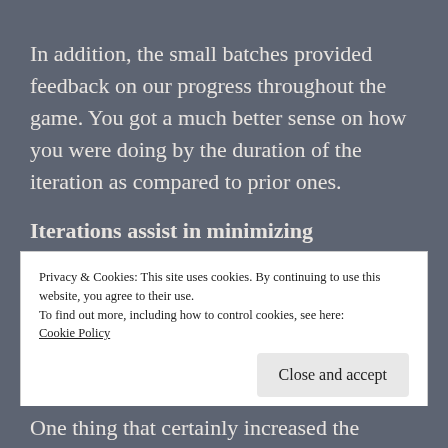In addition, the small batches provided feedback on our progress throughout the game. You got a much better sense on how you were doing by the duration of the iteration as compared to prior ones.
Iterations assist in minimizing movement, providing focus, and maximizing feedback.
Privacy & Cookies: This site uses cookies. By continuing to use this website, you agree to their use.
To find out more, including how to control cookies, see here:
Cookie Policy
Close and accept
One thing that certainly increased the